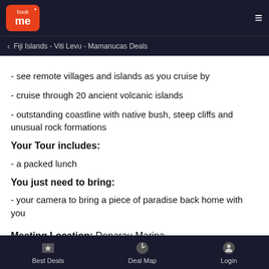BookMe | Fiji Islands - Viti Levu - Mamanucas Deals
- see remote villages and islands as you cruise by
- cruise through 20 ancient volcanic islands
- outstanding coastline with native bush, steep cliffs and unusual rock formations
Your Tour includes:
- a packed lunch
You just need to bring:
- your camera to bring a piece of paradise back home with you
Meeting Location: Denarau Marina
Best Deals | Deal Map | Login